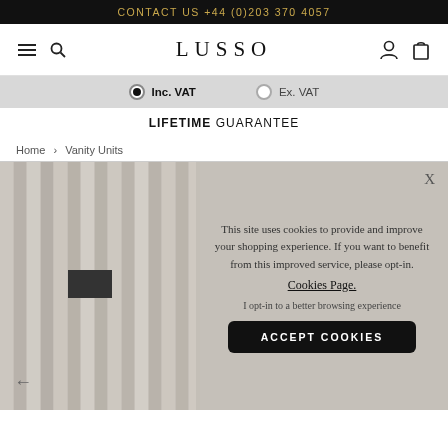CONTACT US +44 (0)203 370 4057
[Figure (screenshot): Lusso website navigation bar with hamburger menu, search icon, LUSSO logo, account icon, and basket icon]
Inc. VAT   Ex. VAT
LIFETIME GUARANTEE
Home > Vanity Units
[Figure (photo): Bathroom vanity unit with vertical ribbed panels in neutral tones, dark wall sconce mounted on the wall]
This site uses cookies to provide and improve your shopping experience. If you want to benefit from this improved service, please opt-in. Cookies Page. I opt-in to a better browsing experience ACCEPT COOKIES